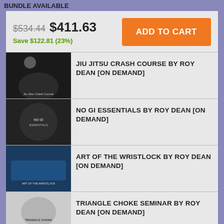BUNDLE AVAILABLE
$534.44 $411.63 Save $122.81 (23%)
JIU JITSU CRASH COURSE BY ROY DEAN [ON DEMAND]
NO GI ESSENTIALS BY ROY DEAN [ON DEMAND]
ART OF THE WRISTLOCK BY ROY DEAN [ON DEMAND]
TRIANGLE CHOKE SEMINAR BY ROY DEAN [ON DEMAND]
YEAR ONE SEMINARS BY ROY DEAN [ON DEMAND]